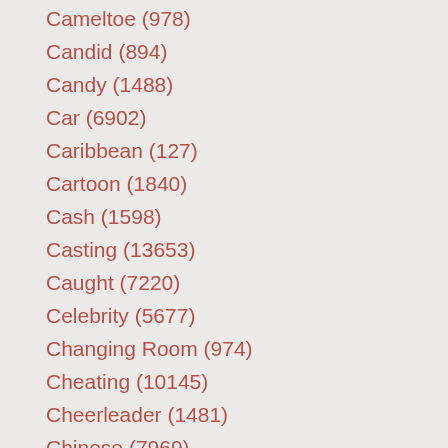Cameltoe (978)
Candid (894)
Candy (1488)
Car (6902)
Caribbean (127)
Cartoon (1840)
Cash (1598)
Casting (13653)
Caught (7220)
Celebrity (5677)
Changing Room (974)
Cheating (10145)
Cheerleader (1481)
Chinese (7969)
Chocolate (980)